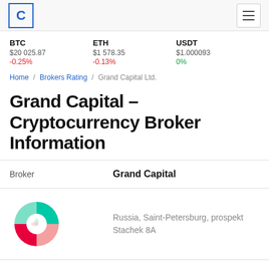Coinratecap logo and navigation menu
BTC $20 025.87 -0.25%   ETH $1 578.35 -0.13%   USDT $1.000093 0%
Home / Brokers Rating / Grand Capital Ltd.
Grand Capital – Cryptocurrency Broker Information
| Field | Value |
| --- | --- |
| Broker | Grand Capital |
|  | Russia, Saint-Petersburg, prospekt Stachek 8A |